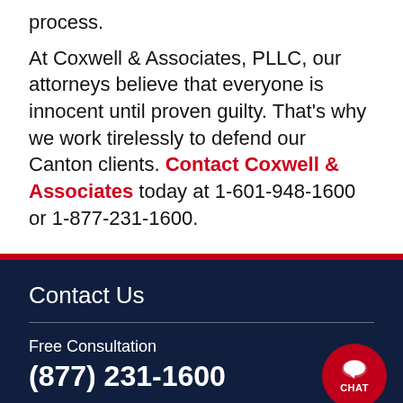process.
At Coxwell & Associates, PLLC, our attorneys believe that everyone is innocent until proven guilty. That's why we work tirelessly to defend our Canton clients. Contact Coxwell & Associates today at 1-601-948-1600 or 1-877-231-1600.
Contact Us
Free Consultation
(877) 231-1600
Name (Required)